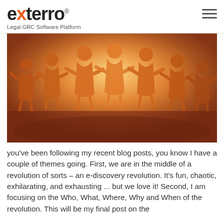exterro — Legal GRC Software Platform
[Figure (photo): Paper chain of human figures holding hands, backlit with warm golden/orange light, symbolizing community or teamwork.]
you've been following my recent blog posts, you know I have a couple of themes going. First, we are in the middle of a revolution of sorts – an e-discovery revolution. It's fun, chaotic, exhilarating, and exhausting ... but we love it! Second, I am focusing on the Who, What, Where, Why and When of the revolution. This will be my final post on the